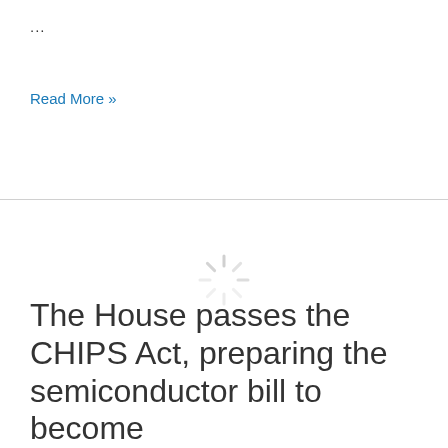...
Read More »
[Figure (other): Loading spinner icon — a circular spinner graphic with radiating lines in light gray]
The House passes the CHIPS Act, preparing the semiconductor bill to become